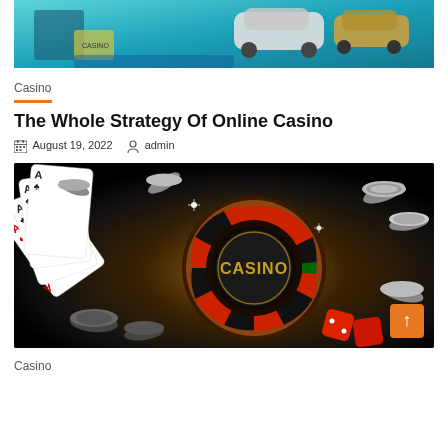[Figure (photo): Top banner image showing a colorful casino/gaming scene with cars and playing cards on a teal background]
Casino
The Whole Strategy Of Online Casino
August 19, 2022   admin
[Figure (photo): Casino themed image with roulette wheel, playing cards showing four aces, casino chips, dice, on dark background with gold CASINO text in center]
Casino